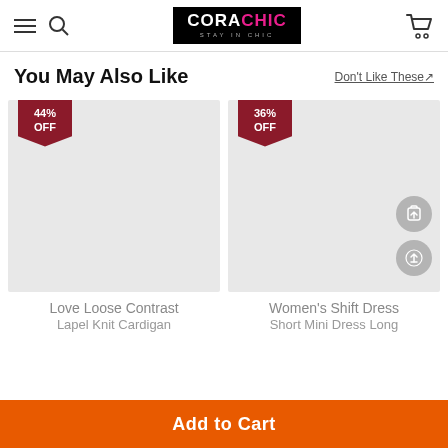[Figure (logo): CORACHIC logo in black box with pink lettering, tagline STAY IN CHIC]
You May Also Like
Don't Like These↗
[Figure (photo): Product image placeholder for Love Loose Contrast Lapel Knit Cardigan with 44% OFF badge]
[Figure (photo): Product image placeholder for Women's Shift Dress Short Mini Dress Long with 36% OFF badge, share and upload icons]
Love Loose Contrast Lapel Knit Cardigan
Women's Shift Dress Short Mini Dress Long
Add to Cart